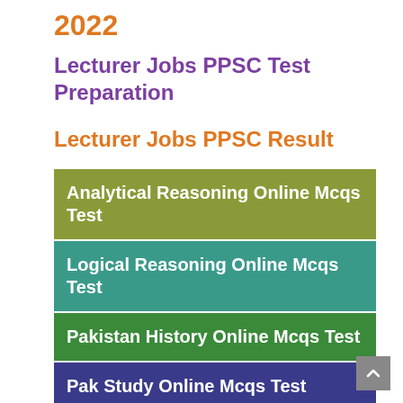2022
Lecturer Jobs PPSC Test Preparation
Lecturer Jobs PPSC Result
Analytical Reasoning Online Mcqs Test
Logical Reasoning Online Mcqs Test
Pakistan History Online Mcqs Test
Pak Study Online Mcqs Test